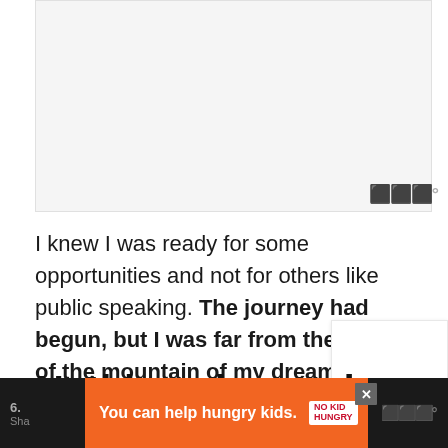[Figure (other): Large image placeholder area with light gray background]
I knew I was ready for some opportunities and not for others like public speaking. The journey had begun, but I was far from the summit of the mountain of my dreams.
Nothing changed
You can help hungry kids. NO KID HUNGRY LEARN HOW